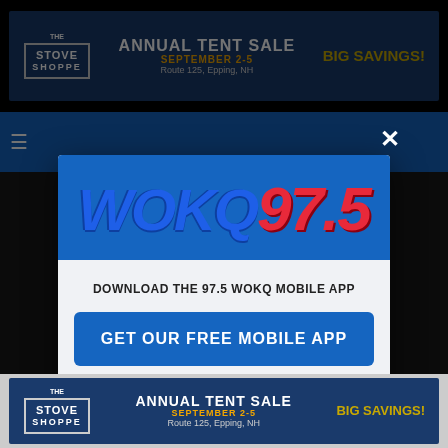[Figure (screenshot): WOKQ 97.5 radio station website screenshot with a popup modal dialog. Background shows The Stove Shoppe annual tent sale advertisement at top. A modal overlay shows the WOKQ 97.5 logo in blue and red, with text to download the mobile app and an Amazon Alexa listen option. Bottom shows another Stove Shoppe ad banner.]
DOWNLOAD THE 97.5 WOKQ MOBILE APP
GET OUR FREE MOBILE APP
Also listen on:  amazon alexa